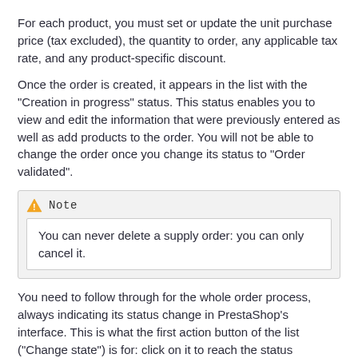For each product, you must set or update the unit purchase price (tax excluded), the quantity to order, any applicable tax rate, and any product-specific discount.
Once the order is created, it appears in the list with the "Creation in progress" status. This status enables you to view and edit the information that were previously entered as well as add products to the order. You will not be able to change the order once you change its status to "Order validated".
Note
You can never delete a supply order: you can only cancel it.
You need to follow through for the whole order process, always indicating its status change in PrestaShop's interface. This is what the first action button of the list ("Change state") is for: click on it to reach the status changing form. See the "Changing the status of a supplier order" section below for more information on the available statuses, and see the "Registering the reception of products" to understand how to follow through on a supply order.
The "+" icon in the supply order list displays the order's history, which enables you to check when each status change took place.